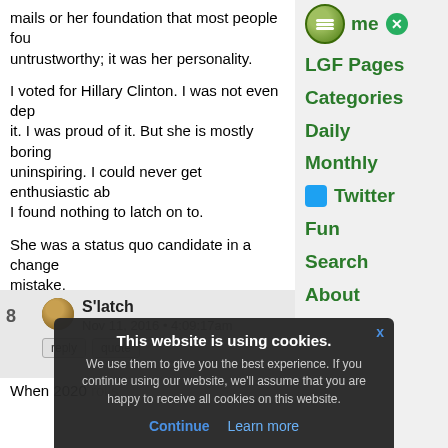mails or her foundation that most people found untrustworthy; it was her personality.
I voted for Hillary Clinton. I was not even depressed about it. I was proud of it. But she is mostly boring and uninspiring. I could never get enthusiastic about her. I found nothing to latch on to.
She was a status quo candidate in a change election. That was the mistake.
S'latch
Nov 11, 2016 • 4:09:17am
When 2020 rolls...
me
LGF Pages
Categories
Daily
Monthly
Twitter
Fun
Search
About
This website is using cookies. We use them to give you the best experience. If you continue using our website, we'll assume that you are happy to receive all cookies on this website.
Continue  Learn more